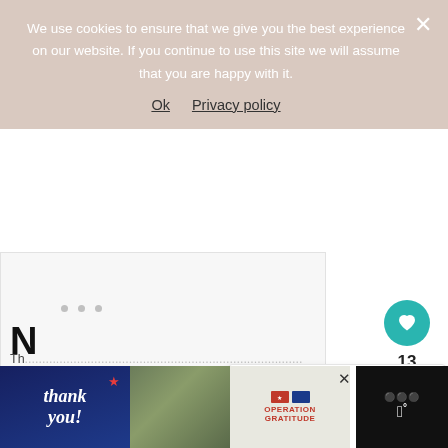We use cookies to ensure that we give you the best experience on our website. If you continue to use this site we will assume that you are happy with it.
Ok   Privacy policy
[Figure (screenshot): Video/media embed placeholder area with three grey dots indicating loading or media content]
[Figure (infographic): Heart/like button (teal circle with heart icon), like count 13, and share button below]
[Figure (infographic): WHAT'S NEXT panel with thumbnail and text: How to Make Homemade...]
N...
Th... little
[Figure (infographic): Advertisement banner: Thank you Operation Gratitude ad with military imagery and close button, plus temperature badge showing degree symbol]